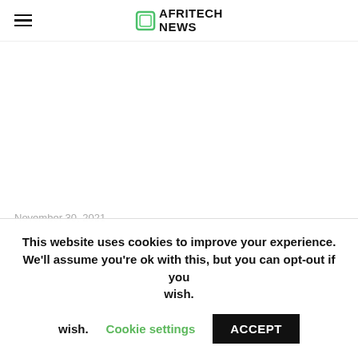AFRITECH NEWS
November 30, 2021
This website uses cookies to improve your experience. We'll assume you're ok with this, but you can opt-out if you wish. Cookie settings ACCEPT